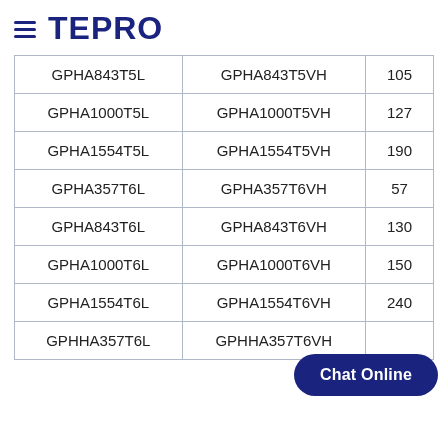TEPRO
| GPHA843T5L | GPHA843T5VH | 105 |
| GPHA1000T5L | GPHA1000T5VH | 127 |
| GPHA1554T5L | GPHA1554T5VH | 190 |
| GPHA357T6L | GPHA357T6VH | 57 |
| GPHA843T6L | GPHA843T6VH | 130 |
| GPHA1000T6L | GPHA1000T6VH | 150 |
| GPHA1554T6L | GPHA1554T6VH | 240 |
| GPHHA357T6L | GPHHA357T6VH |  |